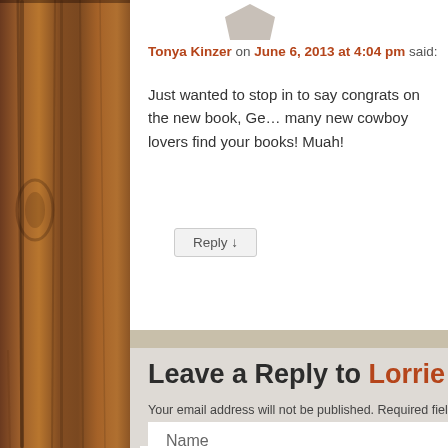[Figure (photo): Wooden plank texture sidebar on the left side of the page]
Tonya Kinzer on June 6, 2013 at 4:04 pm said:
Just wanted to stop in to say congrats on the new book, Ge… many new cowboy lovers find your books! Muah!
Reply ↓
Leave a Reply to Lorrie Farrell…
Your email address will not be published. Required fields are…
Name
*
Email
*